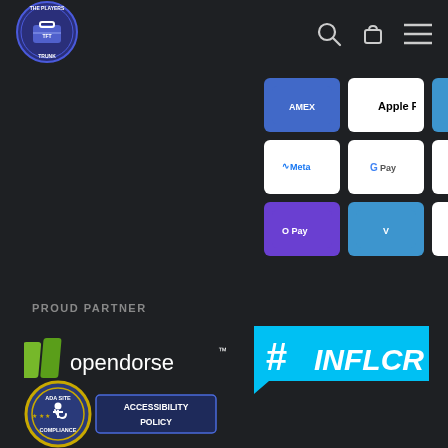[Figure (logo): The Players Trunk circular logo with dark blue border]
[Figure (infographic): Payment method icons grid: row 1: Amex, Apple Pay, Venmo, Orange card; row 2: Meta Pay, Google Pay, Mastercard, PayPal; row 3: OPay, Venmo, Visa]
PROUD PARTNER
[Figure (logo): Opendorse logo with green book icon and opendorse wordmark with TM symbol]
[Figure (logo): INFLCR hashtag logo in cyan/light blue speech bubble style]
[Figure (logo): ADA Site Compliance badge with Accessibility Policy label]